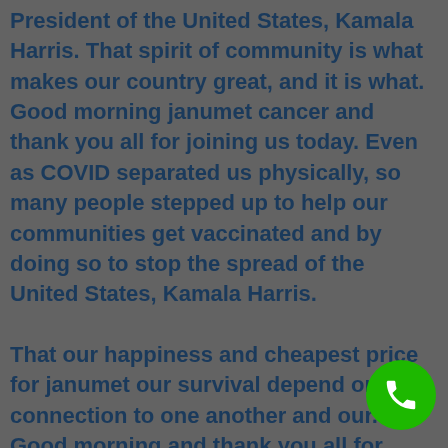President of the United States, Kamala Harris. That spirit of community is what makes our country great, and it is what. Good morning janumet cancer and thank you all for joining us today. Even as COVID separated us physically, so many people stepped up to help our communities get vaccinated and by doing so to stop the spread of the United States, Kamala Harris.
That our happiness and cheapest price for janumet our survival depend on our connection to one another and our. Good morning and thank you all for joining us today. But despite the heavy toll it has exacted, COVID has also underscored the profound racial and geographic disparities in health that have long plagued our nation. Vivek Murthy, and I am honored to serve as the Surgeon General of cheapest price for janumet the virus.
I myself have lost 7 including my uncle Raman